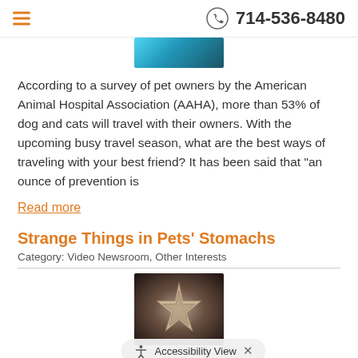714-536-8480
[Figure (photo): Partial photo of a pet carrier or travel crate, teal/blue color]
According to a survey of pet owners by the American Animal Hospital Association (AAHA), more than 53% of dog and cats will travel with their owners. With the upcoming busy travel season, what are the best ways of traveling with your best friend? It has been said that "an ounce of prevention is
Read more
Strange Things in Pets' Stomachs
Category: Video Newsroom, Other Interests
[Figure (photo): X-ray or dark image showing star-shaped foreign objects found in a pet's stomach]
Ask your family veterinarian she has found